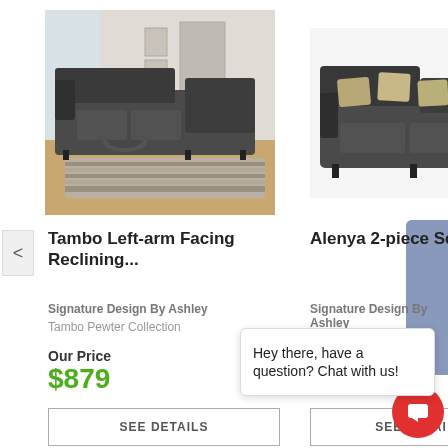[Figure (photo): Tambo left-arm facing reclining sectional sofa in dark gray/pewter color in a living room setting]
[Figure (photo): Alenya 2-piece sectional sofa in charcoal microfiber with accent pillows on white background]
Tambo Left-arm Facing Reclining...
Alenya 2-piece Sectional
Signature Design By Ashley
Tambo Pewter Collection
Signature Design By Ashley
Our Price
$879
$1,199
SEE DETAILS
SEE DETAILS
Hey there, have a question? Chat with us!